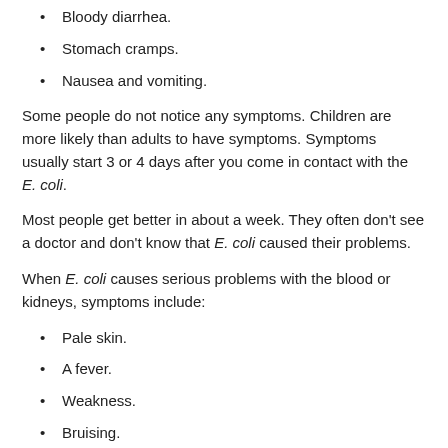Bloody diarrhea.
Stomach cramps.
Nausea and vomiting.
Some people do not notice any symptoms. Children are more likely than adults to have symptoms. Symptoms usually start 3 or 4 days after you come in contact with the E. coli.
Most people get better in about a week. They often don't see a doctor and don't know that E. coli caused their problems.
When E. coli causes serious problems with the blood or kidneys, symptoms include:
Pale skin.
A fever.
Weakness.
Bruising.
Passing only small amounts of urine.
How long can E. coli infections last?